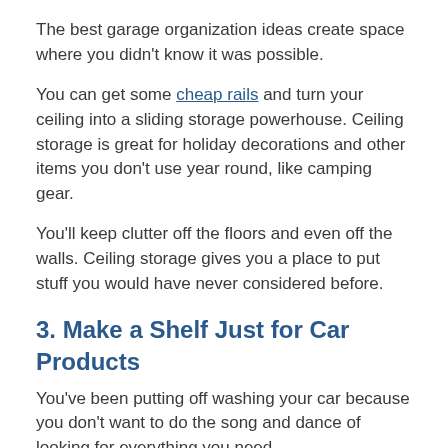The best garage organization ideas create space where you didn't know it was possible.
You can get some cheap rails and turn your ceiling into a sliding storage powerhouse. Ceiling storage is great for holiday decorations and other items you don't use year round, like camping gear.
You'll keep clutter off the floors and even off the walls. Ceiling storage gives you a place to put stuff you would have never considered before.
3. Make a Shelf Just for Car Products
You've been putting off washing your car because you don't want to do the song and dance of looking for everything you need.
Here come garage organization solutions to save the day.